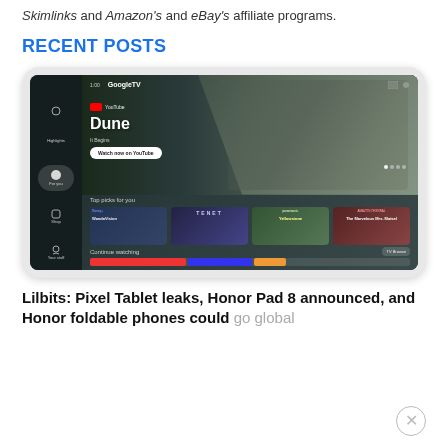Skimlinks and Amazon's and eBay's affiliate programs.
RECENT POSTS
[Figure (screenshot): A tablet device displaying the Google TV interface, showing the movie Dune on YouTube with 'Watch now on YouTube' button, top picks including TENET, Yellowstone, and The Marvelous Mrs. Maisel, and a Continue watching section at the bottom.]
Lilbits: Pixel Tablet leaks, Honor Pad 8 announced, and Honor foldable phones could go global